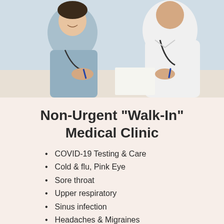[Figure (photo): Medical professionals / doctors and nurses in white coats and scrubs with stethoscopes, sitting at a table writing notes]
Non-Urgent "Walk-In" Medical Clinic
COVID-19 Testing & Care
Cold & flu, Pink Eye
Sore throat
Upper respiratory
Sinus infection
Headaches & Migraines
Acne & Rashes